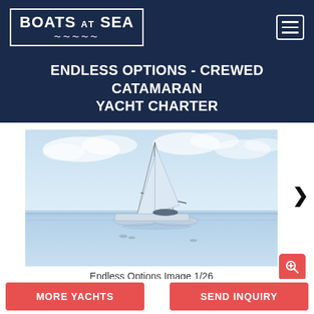BOATS AT SEA
ENDLESS OPTIONS - CREWED CATAMARAN YACHT CHARTER
[Figure (photo): Catamaran sailboat anchored on calm blue water with tall mast, overcast sky in background. Birds visible on water surface.]
Endless Options Image 1/26
MORE YACHTS | SEND INQUIRY